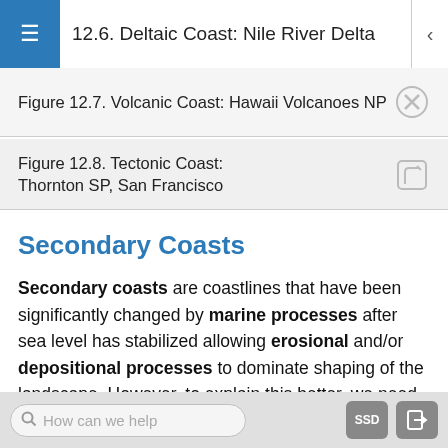12.6. Deltaic Coast: Nile River Delta
Figure 12.7. Volcanic Coast: Hawaii Volcanoes NP
Figure 12.8. Tectonic Coast: Thornton SP, San Francisco
Secondary Coasts
Secondary coasts are coastlines that have been significantly changed by marine processes after sea level has stabilized allowing erosional and/or depositional processes to dominate shaping of the landscape. However, to explain this better, we need to examine the other classifications of coastlines first.
Both primary and secondary coasts are influenced